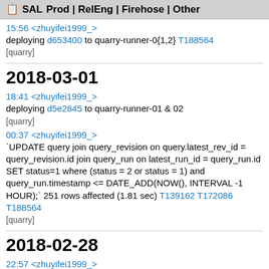SAL  Prod | RelEng | Firehose | Other
15:56 <zhuyifei1999_>
deploying d653400 to quarry-runner-0{1,2} T188564
[quarry]
2018-03-01
18:41 <zhuyifei1999_>
deploying d5e2845 to quarry-runner-01 & 02
[quarry]
00:37 <zhuyifei1999_>
`UPDATE query join query_revision on query.latest_rev_id = query_revision.id join query_run on latest_run_id = query_run.id SET status=1 where (status = 2 or status = 1) and query_run.timestamp <= DATE_ADD(NOW(), INTERVAL -1 HOUR);` 251 rows affected (1.81 sec) T139162 T172086 T188564
[quarry]
2018-02-28
22:57 <zhuyifei1999_>